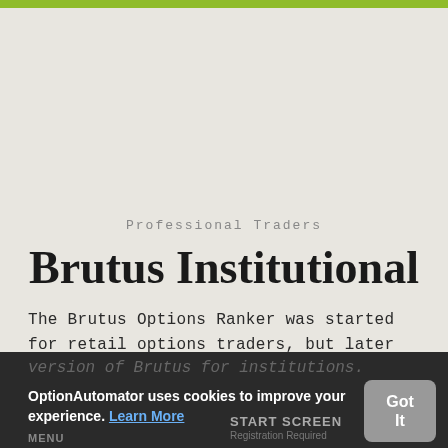Professional Traders
Brutus Institutional
The Brutus Options Ranker was started for retail options traders, but later became evident that not all professional traders had access to similar technology.  Therefore, we offer a dedicated cloud version of Brutus for institutions.
OptionAutomator uses cookies to improve your experience. Learn More
Got It
START SCREEN
MENU
Registration Required